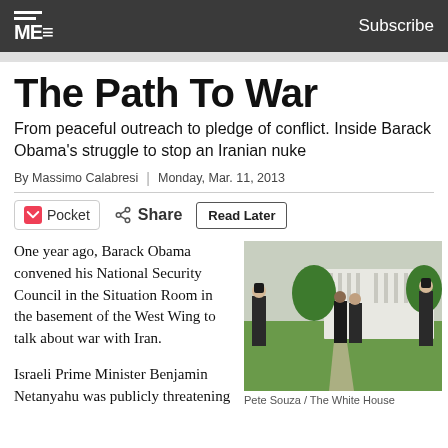ME | Subscribe
The Path To War
From peaceful outreach to pledge of conflict. Inside Barack Obama's struggle to stop an Iranian nuke
By Massimo Calabresi | Monday, Mar. 11, 2013
[Figure (photo): Photograph of Barack Obama and Benjamin Netanyahu on the White House lawn, flanked by US Marines in dress uniform. Photo credit: Pete Souza / The White House]
Pete Souza / The White House
One year ago, Barack Obama convened his National Security Council in the Situation Room in the basement of the West Wing to talk about war with Iran.
Israeli Prime Minister Benjamin Netanyahu was publicly threatening